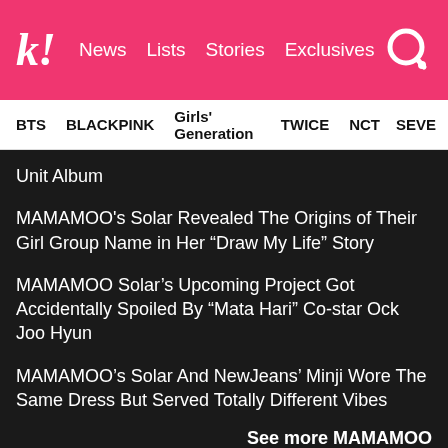k! News  Lists  Stories  Exclusives
BTS  BLACKPINK  Girls' Generation  TWICE  NCT  SEVE...
Unit Album
MAMAMOO's Solar Revealed The Origins of Their Girl Group Name in Her “Draw My Life” Story
MAMAMOO Solar’s Upcoming Project Got Accidentally Spoiled By “Mata Hari” Co-star Ock Joo Hyun
MAMAMOO’s Solar And NewJeans’ Minji Wore The Same Dress But Served Totally Different Vibes
See more MAMAMOO
Share This Post